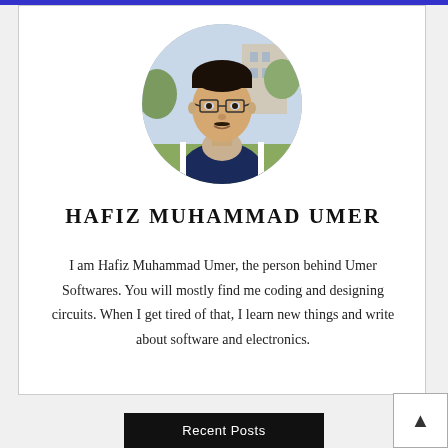[Figure (photo): Circular profile photo of Hafiz Muhammad Umer, a young man wearing glasses and a blue jacket, outdoors with trees and buildings in the background]
HAFIZ MUHAMMAD UMER
I am Hafiz Muhammad Umer, the person behind Umer Softwares. You will mostly find me coding and designing circuits. When I get tired of that, I learn new things and write about software and electronics.
Recent Posts